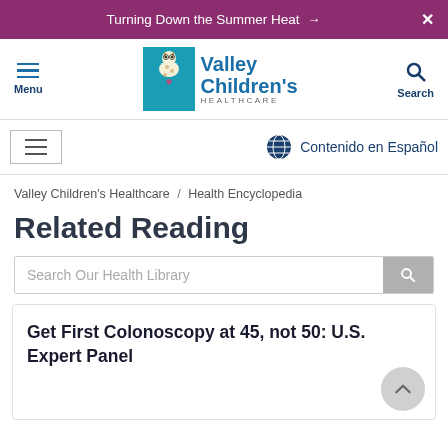Turning Down the Summer Heat →  X
[Figure (logo): Valley Children's Healthcare logo with giraffe illustration and teal rectangle]
Menu  Search
☰  Contenido en Español
Valley Children's Healthcare / Health Encyclopedia
Related Reading
Search Our Health Library
Get First Colonoscopy at 45, not 50: U.S. Expert Panel